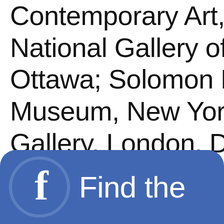Contemporary Art, National Gallery of Canada, Ottawa; Solomon R. Guggenheim Museum, New York; Serpentine Gallery, London. Dz... works in New York.
[Figure (logo): Facebook logo banner with 'f' icon and 'Find the' text on blue rounded rectangle background]